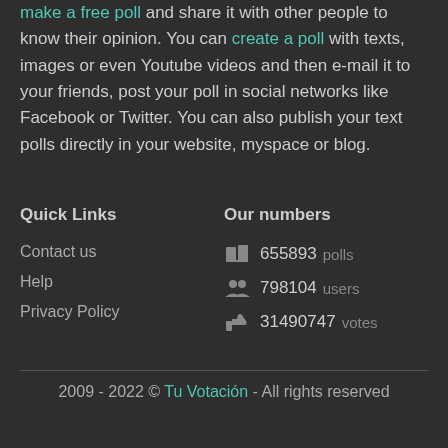make a free poll and share it with other people to know their opinion. You can create a poll with texts, images or even Youtube videos and then e-mail it to your friends, post your poll in social networks like Facebook or Twitter. You can also publish your text polls directly in your website, myspace or blog.
Quick Links
Our numbers
Contact us
Help
Privacy Policy
655893 polls
798104 users
31490747 votes
2009 - 2022 © Tu Votación - All rights reserved